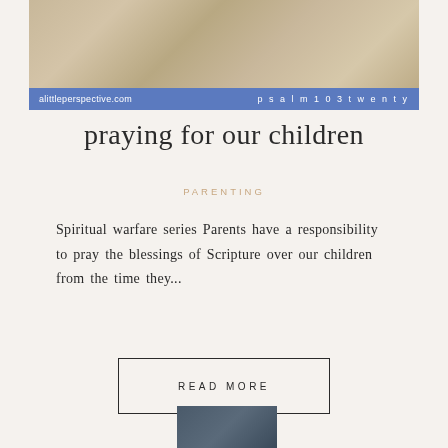[Figure (photo): Religious statue or sculpture in beige/gold tones, likely a church sculpture]
alittleperspective.com   psalm 103 twenty
praying for our children
PARENTING
Spiritual warfare series Parents have a responsibility to pray the blessings of Scripture over our children from the time they...
READ MORE
[Figure (photo): Partial image visible at bottom of page, appears to be fabric or textile in dark blue/gray tones]